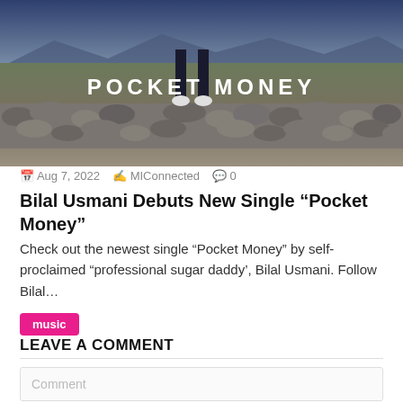[Figure (photo): Music single cover image showing a person standing in a rocky desert landscape with stone wall, text 'POCKET MONEY' overlaid in white bold letters]
Aug 7, 2022  MIConnected  0
Bilal Usmani Debuts New Single “Pocket Money”
Check out the newest single “Pocket Money” by self-proclaimed “professional sugar daddy’, Bilal Usmani. Follow Bilal…
music
LEAVE A COMMENT
Comment